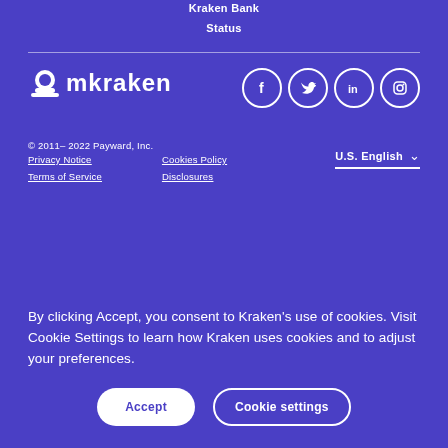Kraken Bank
Status
[Figure (logo): Kraken logo — mountain/wave icon followed by 'mkraken' wordmark in white on purple background]
[Figure (other): Social media icons: Facebook, Twitter, LinkedIn, Instagram — white outlines on purple circles]
© 2011– 2022 Payward, Inc.
Privacy Notice
Terms of Service
Cookies Policy
Disclosures
U.S. English
By clicking Accept, you consent to Kraken's use of cookies. Visit Cookie Settings to learn how Kraken uses cookies and to adjust your preferences.
Accept
Cookie settings